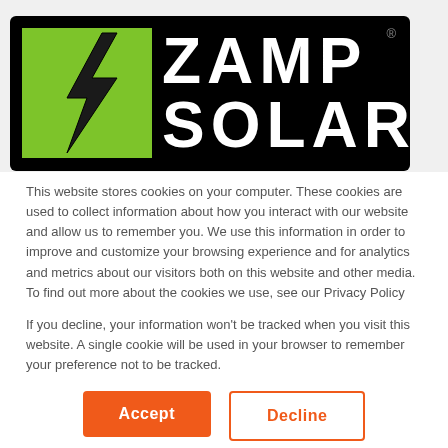[Figure (logo): Zamp Solar logo: black rectangular banner with green square containing a lightning bolt icon on the left, and white bold text 'ZAMP SOLAR' on the right with a registered trademark symbol]
This website stores cookies on your computer. These cookies are used to collect information about how you interact with our website and allow us to remember you. We use this information in order to improve and customize your browsing experience and for analytics and metrics about our visitors both on this website and other media. To find out more about the cookies we use, see our Privacy Policy
If you decline, your information won't be tracked when you visit this website. A single cookie will be used in your browser to remember your preference not to be tracked.
Accept
Decline